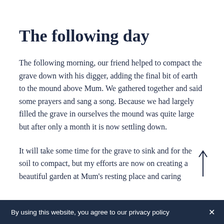The following day
The following morning, our friend helped to compact the grave down with his digger, adding the final bit of earth to the mound above Mum. We gathered together and said some prayers and sang a song. Because we had largely filled the grave in ourselves the mound was quite large but after only a month it is now settling down.
It will take some time for the grave to sink and for the soil to compact, but my efforts are now on creating a beautiful garden at Mum's resting place and caring
By using this website, you agree to our privacy policy